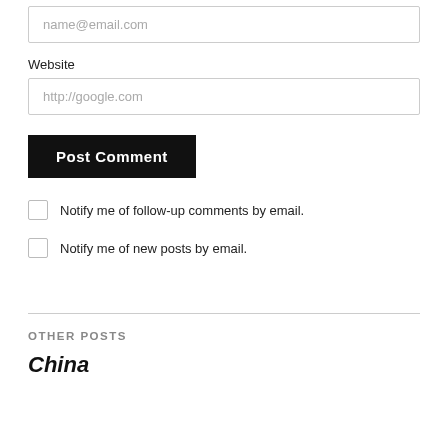name@email.com
Website
http://google.com
Post Comment
Notify me of follow-up comments by email.
Notify me of new posts by email.
OTHER POSTS
China